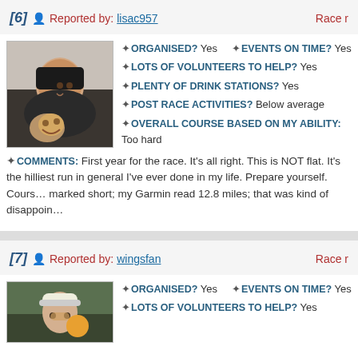[6] Reported by: lisac957   Race r
[Figure (photo): Profile photo of a woman smiling holding a dog]
ORGANISED? Yes  EVENTS ON TIME? Yes
LOTS OF VOLUNTEERS TO HELP? Yes
PLENTY OF DRINK STATIONS? Yes
POST RACE ACTIVITIES? Below average
OVERALL COURSE BASED ON MY ABILITY: Too hard
COMMENTS: First year for the race. It's all right. This is NOT flat. It's the hilliest run in general I've ever done in my life. Prepare yourself. Course marked short; my Garmin read 12.8 miles; that was kind of disappoin
[7] Reported by: wingsfan   Race r
[Figure (photo): Profile photo of a person wearing a hat and sunglasses]
ORGANISED? Yes  EVENTS ON TIME? Yes
LOTS OF VOLUNTEERS TO HELP? Yes